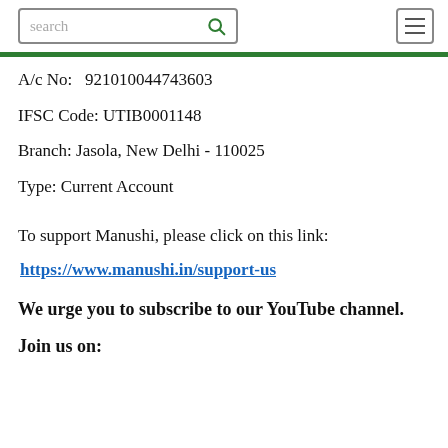search [search icon] [hamburger menu]
A/c No:  921010044743603
IFSC Code: UTIB0001148
Branch: Jasola, New Delhi - 110025
Type: Current Account
To support Manushi, please click on this link:
https://www.manushi.in/support-us
We urge you to subscribe to our YouTube channel.
Join us on: